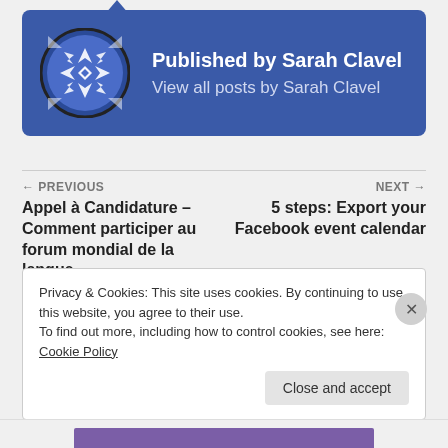[Figure (illustration): Author box with blue background, circular avatar with geometric pattern, showing 'Published by Sarah Clavel' and 'View all posts by Sarah Clavel']
Published by Sarah Clavel
View all posts by Sarah Clavel
← PREVIOUS
Appel à Candidature – Comment participer au forum mondial de la langue
NEXT →
5 steps: Export your Facebook event calendar
Privacy & Cookies: This site uses cookies. By continuing to use this website, you agree to their use.
To find out more, including how to control cookies, see here: Cookie Policy
Close and accept